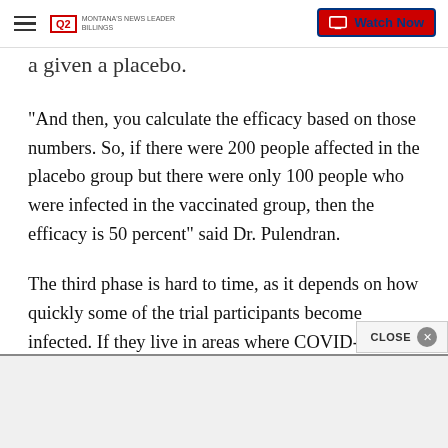Q2 Montana's News Leader Billings — Watch Now
a given a placebo.
"And then, you calculate the efficacy based on those numbers. So, if there were 200 people affected in the placebo group but there were only 100 people who were infected in the vaccinated group, then the efficacy is 50 percent" said Dr. Pulendran.
The third phase is hard to time, as it depends on how quickly some of the trial participants become infected. If they live in areas where COVID-19 infection rates are higher, the phase will be completed faster.